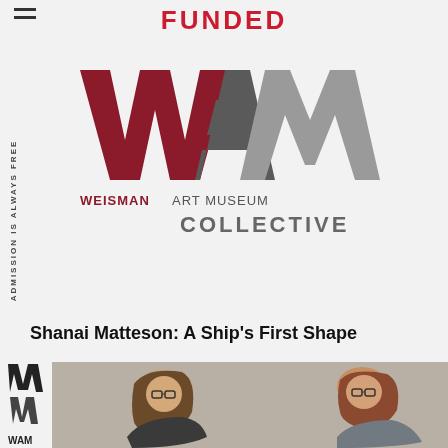FUNDED
[Figure (logo): WAM Weisman Art Museum Collective logo with large stylized W A M letters in dark red and gray, with text WEISMAN ART MUSEUM and COLLECTIVE below]
ADMISSION IS ALWAYS FREE
Shanai Matteson: A Ship’s First Shape
[Figure (photo): Two people leaning over to look at something, photographed from the side. One has long hair and glasses. WAM logo shown vertically on left side.]